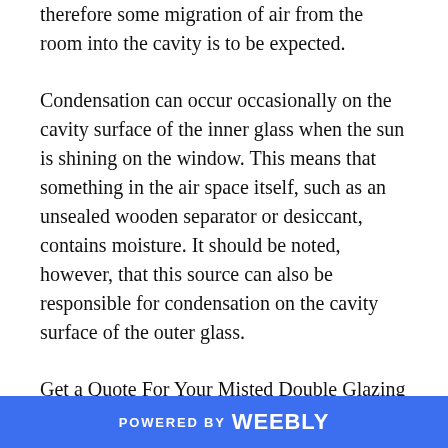therefore some migration of air from the room into the cavity is to be expected.
Condensation can occur occasionally on the cavity surface of the inner glass when the sun is shining on the window. This means that something in the air space itself, such as an unsealed wooden separator or desiccant, contains moisture. It should be noted, however, that this source can also be responsible for condensation on the cavity surface of the outer glass.
Get a Quote For Your Misted Double Glazing Repair Contact Us.
POWERED BY weebly